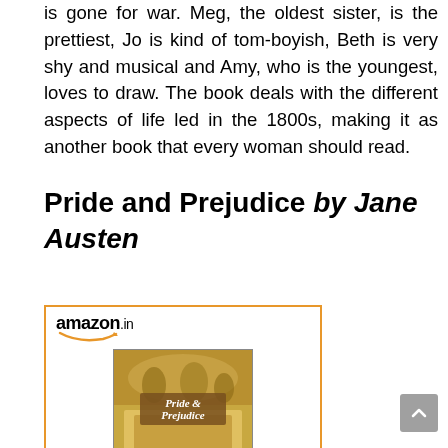is gone for war. Meg, the oldest sister, is the prettiest, Jo is kind of tom-boyish, Beth is very shy and musical and Amy, who is the youngest, loves to draw. The book deals with the different aspects of life led in the 1800s, making it as another book that every woman should read.
Pride and Prejudice by Jane Austen
[Figure (screenshot): Amazon.in product widget showing the book 'Pride and Prejudice' with cover image, link text 'Pride and Prejudice', and price INR 134.00]